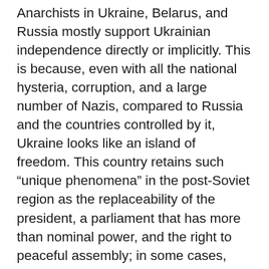Anarchists in Ukraine, Belarus, and Russia mostly support Ukrainian independence directly or implicitly. This is because, even with all the national hysteria, corruption, and a large number of Nazis, compared to Russia and the countries controlled by it, Ukraine looks like an island of freedom. This country retains such “unique phenomena” in the post-Soviet region as the replaceability of the president, a parliament that has more than nominal power, and the right to peaceful assembly; in some cases, factoring in additional attention from society, the courts sometimes even function according to their professed protocol. To say that this is preferable to the situation in Russia is not to say anything new. As Bakunin wrote, “We are firmly convinced that the most imperfect republic is a thousand times better than the most enlightened monarchy.”